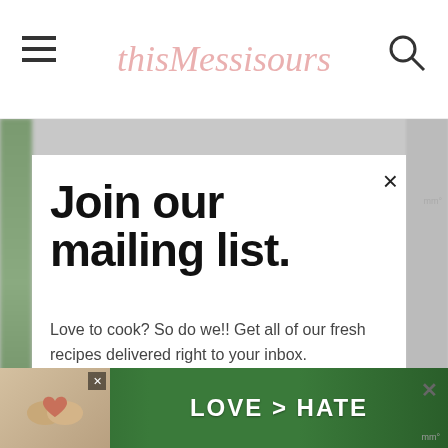This Mess is Ours
Join our mailing list.
Love to cook? So do we!! Get all of our fresh recipes delivered right to your inbox.
Email address
Subscribe
[Figure (infographic): Advertisement banner at bottom showing heart hands gesture with text LOVE > HATE on green background]